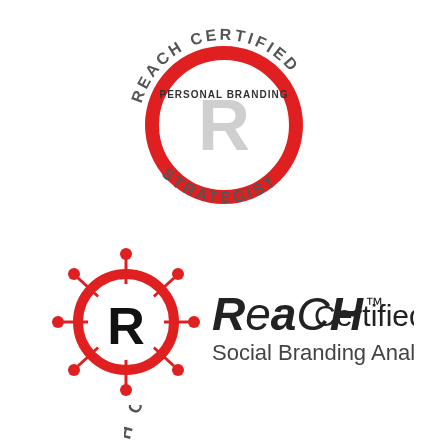[Figure (logo): REACH Certified Personal Branding Strategist circular badge logo with red ring and grey R letter in center, text arched around the circle]
[Figure (logo): REACH Certified Social Branding Analyst logo with red circular emblem featuring black R and spoke lines radiating outward, with text to the right]
[Figure (logo): Partially visible REACH Certified logo at bottom of page, cropped]